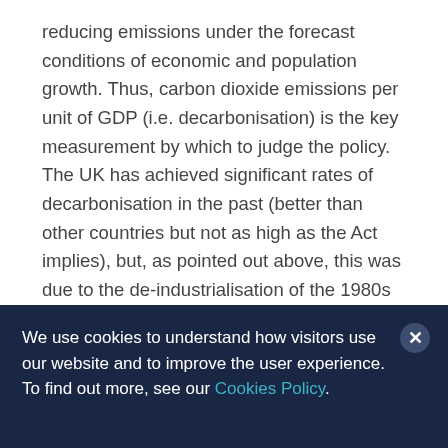reducing emissions under the forecast conditions of economic and population growth. Thus, carbon dioxide emissions per unit of GDP (i.e. decarbonisation) is the key measurement by which to judge the policy. The UK has achieved significant rates of decarbonisation in the past (better than other countries but not as high as the Act implies), but, as pointed out above, this was due to the de-industrialisation of the 1980s and 1990s, and this rate has since slowed considerably.
We use cookies to understand how visitors use our website and to improve the user experience. To find out more, see our Cookies Policy.